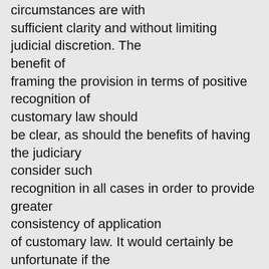circumstances are with sufficient clarity and without limiting judicial discretion. The benefit of framing the provision in terms of positive recognition of customary law should be clear, as should the benefits of having the judiciary consider such recognition in all cases in order to provide greater consistency of application of customary law. It would certainly be unfortunate if the only references to Aboriginal customary law that emerged were excisions of where such law could not be recognised, or forms of non-recognition.
I want to now make some practical comments about customary law processes and then to briefly refer to the report of the Northern Territory Law Reform Committee